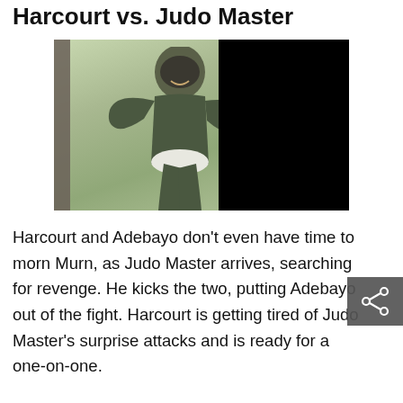Harcourt vs. Judo Master
[Figure (photo): A person in a green superhero costume and mask leaning through or around a window frame, with trees visible in the background. The right portion of the image is covered by a black rectangle (redaction or overlay).]
Harcourt and Adebayo don't even have time to morn Murn, as Judo Master arrives, searching for revenge. He kicks the two, putting Adebayo out of the fight. Harcourt is getting tired of Judo Master's surprise attacks and is ready for a one-on-one.